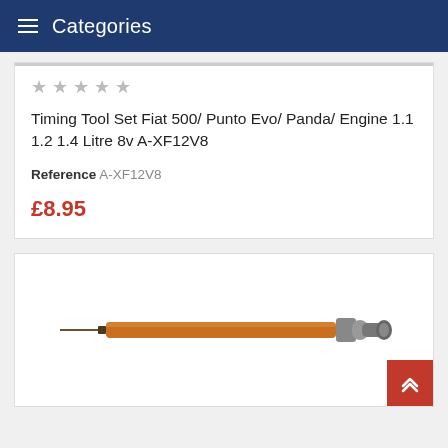Categories
★★★★★ (empty stars rating)
Timing Tool Set Fiat 500/ Punto Evo/ Panda/ Engine 1.1 1.2 1.4 Litre 8v A-XF12V8
Reference A-XF12V8
£8.95
[Figure (photo): An orange-handled automotive timing tool (elongated cylindrical tool with pointed tip on left and a connector/fitting on the right end)]